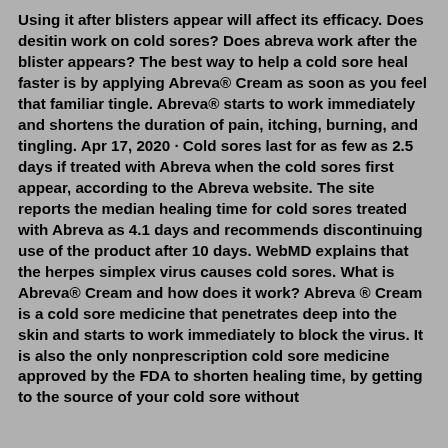Using it after blisters appear will affect its efficacy. Does desitin work on cold sores? Does abreva work after the blister appears? The best way to help a cold sore heal faster is by applying Abreva® Cream as soon as you feel that familiar tingle. Abreva® starts to work immediately and shortens the duration of pain, itching, burning, and tingling. Apr 17, 2020 · Cold sores last for as few as 2.5 days if treated with Abreva when the cold sores first appear, according to the Abreva website. The site reports the median healing time for cold sores treated with Abreva as 4.1 days and recommends discontinuing use of the product after 10 days. WebMD explains that the herpes simplex virus causes cold sores. What is Abreva® Cream and how does it work? Abreva ® Cream is a cold sore medicine that penetrates deep into the skin and starts to work immediately to block the virus. It is also the only nonprescription cold sore medicine approved by the FDA to shorten healing time, by getting to the source of your cold sore without thinning the skin. Nov 19, 2019 · For the best...